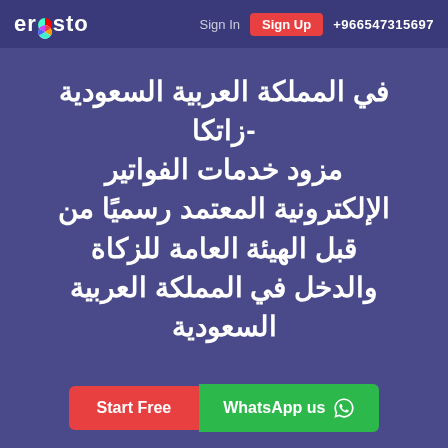erposto  Sign In  Sign Up  +966547315697
في المملكة العربية السعودية -زاتكا مزود خدمات الفواتير الإلكترونية المعتمد رسميًا من قبل الهيئة العامة للزكاة والدخل في المملكة العربية السعودية
Start Free  WhatsApp us